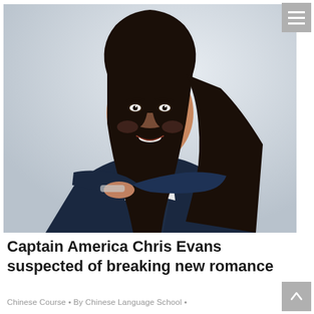[Figure (photo): A young woman with long dark hair wearing a navy blue blazer, smiling with arms crossed, against a light gray background. Professional headshot style.]
Captain America Chris Evans suspected of breaking new romance
Chinese Course • By Chinese Language School •